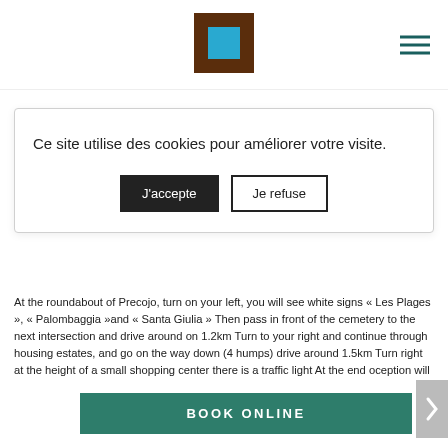[Figure (logo): Brown square logo with cyan/blue square inside center]
Ce site utilise des cookies pour améliorer votre visite.
J'accepte   Je refuse
At the roundabout of Precojo, turn on your left, you will see white signs « Les Plages », « Palombaggia »and « Santa Giulia » Then pass in front of the cemetery to the next intersection and drive around on 1.2km Turn to your right and continue through housing estates, and go on the way down (4 humps) drive around 1.5km Turn right at the height of a small shopping center there is a traffic light At the end o...ception will
BOOK ONLINE